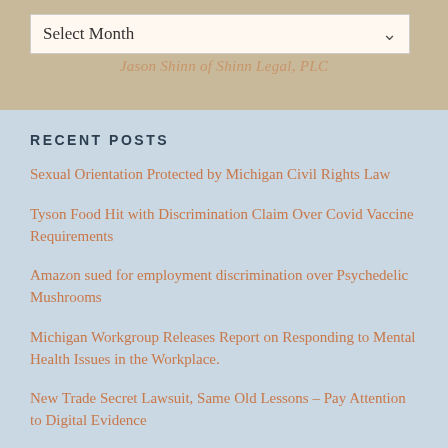Jason Shinn of Shinn Legal, PLC
RECENT POSTS
Sexual Orientation Protected by Michigan Civil Rights Law
Tyson Food Hit with Discrimination Claim Over Covid Vaccine Requirements
Amazon sued for employment discrimination over Psychedelic Mushrooms
Michigan Workgroup Releases Report on Responding to Mental Health Issues in the Workplace.
New Trade Secret Lawsuit, Same Old Lessons – Pay Attention to Digital Evidence